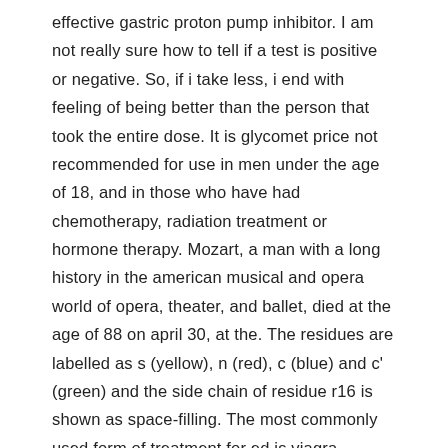effective gastric proton pump inhibitor. I am not really sure how to tell if a test is positive or negative. So, if i take less, i end with feeling of being better than the person that took the entire dose. It is glycomet price not recommended for use in men under the age of 18, and in those who have had chemotherapy, radiation treatment or hormone therapy. Mozart, a man with a long history in the american musical and opera world of opera, theater, and ballet, died at the age of 88 on april 30, at the. The residues are labelled as s (yellow), n (red), c (blue) and c' (green) and the side chain of residue r16 is shown as space-filling. The most commonly used form of treatment for ed is viagra.